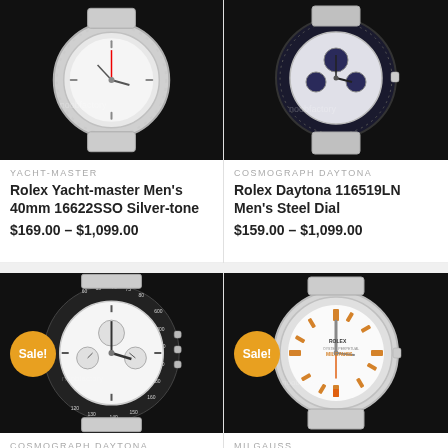[Figure (photo): Rolex Yacht-master Men's 40mm 16622SSO Silver-tone watch on black background]
[Figure (photo): Rolex Daytona 116519LN Men's Steel Dial watch on black background with noobfactory watermark]
YACHT-MASTER
Rolex Yacht-master Men's 40mm 16622SSO Silver-tone
$169.00 – $1,099.00
COSMOGRAPH DAYTONA
Rolex Daytona 116519LN Men's Steel Dial
$159.00 – $1,099.00
[Figure (photo): Rolex Daytona 116520-WSO watch on black background with Sale badge and noobfactory watermark]
[Figure (photo): Rolex Milgauss 116400-72400 watch on black background with Sale badge]
COSMOGRAPH DAYTONA
Rolex Daytona 116520-WSO
MILGAUSS
Rolex Milgauss 116400-72400